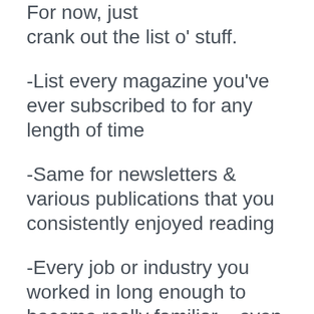For now, just crank out the list o' stuff.
-List every magazine you've ever subscribed to for any length of time
-Same for newsletters & various publications that you consistently enjoyed reading
-Every job or industry you worked in long enough to become really familiar – even if you've been out of it for a long time